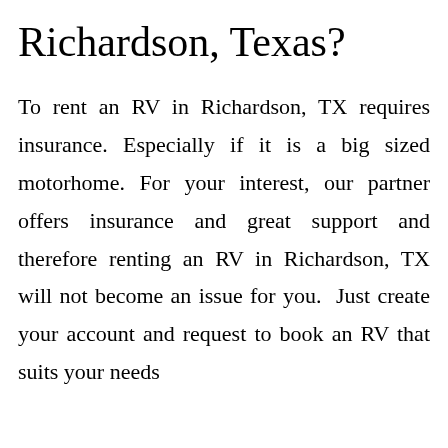Richardson, Texas?
To rent an RV in Richardson, TX requires insurance. Especially if it is a big sized motorhome. For your interest, our partner offers insurance and great support and therefore renting an RV in Richardson, TX will not become an issue for you.  Just create your account and request to book an RV that suits your needs